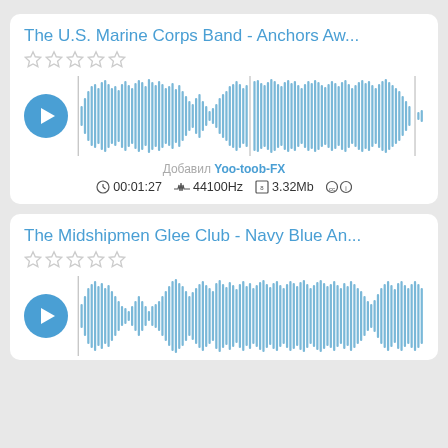The U.S. Marine Corps Band - Anchors Aw...
[Figure (other): Five empty star rating icons]
[Figure (other): Audio waveform player with play button and waveform visualization]
Добавил Yoo-toob-FX
00:01:27  44100Hz  3.32Mb  CC
The Midshipmen Glee Club - Navy Blue An...
[Figure (other): Five empty star rating icons]
[Figure (other): Audio waveform player with play button and waveform visualization]